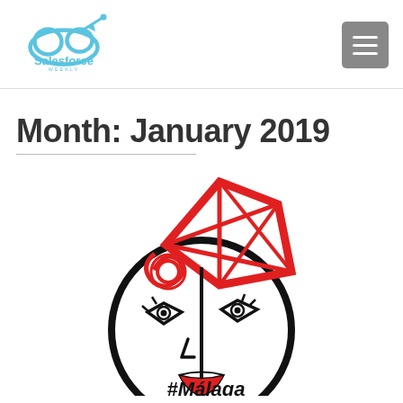Salesforce Weekly
Month: January 2019
[Figure (illustration): Picasso-style abstract face illustration with a red geometric hat/polygon shape on top, red circular scribble on the side, black and white line-drawn face with stylized eyes and red lips. Text '#Malaga' partially visible at bottom.]